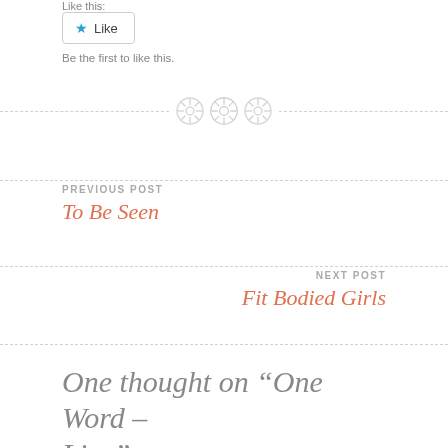Like this:
[Figure (other): Like button widget with star icon]
Be the first to like this.
[Figure (other): Three decorative button icons centered on a dashed horizontal divider line]
PREVIOUS POST
To Be Seen
NEXT POST
Fit Bodied Girls
One thought on “One Word – Live”